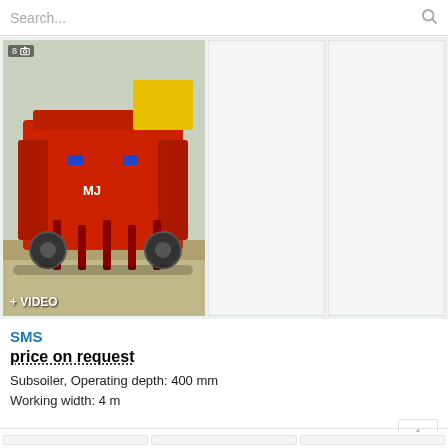Search...
[Figure (photo): Red agricultural subsoiler machine photographed outdoors, with badge showing '8' photos and a camera icon. Overlay label '+ VIDEO' at bottom left.]
SMS
price on request
Subsoiler, Operating depth: 400 mm
Working width: 4 m
Ukraine, Kiev
[Figure (photo): Partially visible thumbnail image (bottom of page, first slot)]
[Figure (photo): Partially visible thumbnail image (bottom of page, second slot)]
[Figure (photo): Partially visible thumbnail image (bottom of page, third slot)]